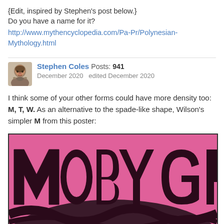{Edit, inspired by Stephen's post below.}
Do you have a name for it?
http://www.mythencyclopedia.com/Pa-Pr/Polynesian-Mythology.html
Stephen Coles Posts: 941
December 2020   edited December 2020
I think some of your other forms could have more density too: M, T, W. As an alternative to the spade-like shape, Wilson's simpler M from this poster:
[Figure (photo): Psychedelic 1960s-style poster with large pink and dark brown/black lettering spelling 'MOBY GRAPE' or similar band name in ornate, curvy typography on a pink background.]